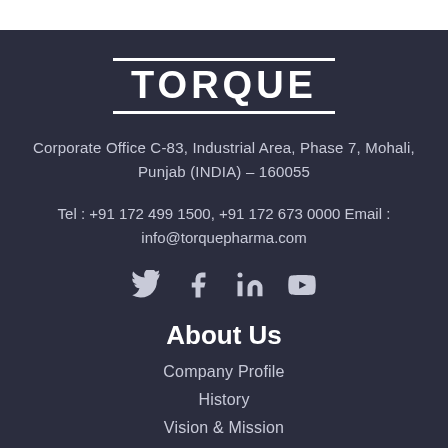TORQUE
Corporate Office C-83, Industrial Area, Phase 7, Mohali, Punjab (INDIA) – 160055
Tel : +91 172 499 1500, +91 172 673 0000 Email : info@torquepharma.com
[Figure (infographic): Social media icons: Twitter, Facebook, LinkedIn, YouTube]
About Us
Company Profile
History
Vision & Mission
Quality Policy